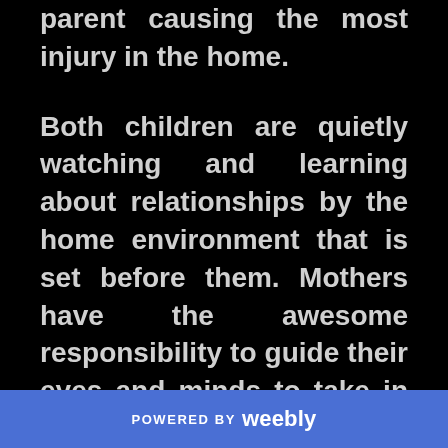parent causing the most injury in the home.
Both children are quietly watching and learning about relationships by the home environment that is set before them. Mothers have the awesome responsibility to guide their eyes and minds to take in proper relationship patterns and habits.
POWERED BY weebly